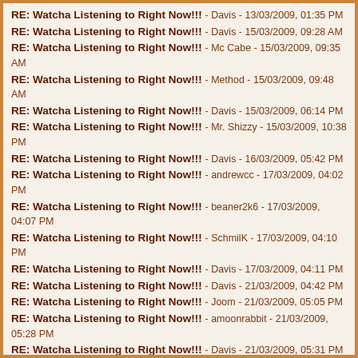RE: Watcha Listening to Right Now!!! - Davis - 13/03/2009, 01:35 PM
RE: Watcha Listening to Right Now!!! - Davis - 15/03/2009, 09:28 AM
RE: Watcha Listening to Right Now!!! - Mc Cabe - 15/03/2009, 09:35 AM
RE: Watcha Listening to Right Now!!! - Method - 15/03/2009, 09:48 AM
RE: Watcha Listening to Right Now!!! - Davis - 15/03/2009, 06:14 PM
RE: Watcha Listening to Right Now!!! - Mr. Shizzy - 15/03/2009, 10:38 PM
RE: Watcha Listening to Right Now!!! - Davis - 16/03/2009, 05:42 PM
RE: Watcha Listening to Right Now!!! - andrewcc - 17/03/2009, 04:02 PM
RE: Watcha Listening to Right Now!!! - beaner2k6 - 17/03/2009, 04:07 PM
RE: Watcha Listening to Right Now!!! - SchmilK - 17/03/2009, 04:10 PM
RE: Watcha Listening to Right Now!!! - Davis - 17/03/2009, 04:11 PM
RE: Watcha Listening to Right Now!!! - Davis - 21/03/2009, 04:42 PM
RE: Watcha Listening to Right Now!!! - Joom - 21/03/2009, 05:05 PM
RE: Watcha Listening to Right Now!!! - amoonrabbit - 21/03/2009, 05:28 PM
RE: Watcha Listening to Right Now!!! - Davis - 21/03/2009, 05:31 PM
RE: Watcha Listening to Right Now!!! - S7* - 23/03/2009, 03:27 AM
RE: Watcha Listening to Right Now!!! - PSPkiller - 23/03/2009, 03:45 AM
RE: Watcha Listening to Right Now!!! - SchmilK - 23/03/2009, 06:12 AM